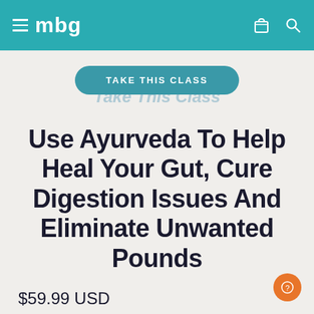mbg
TAKE THIS CLASS
Use Ayurveda To Help Heal Your Gut, Cure Digestion Issues And Eliminate Unwanted Pounds
$59.99 USD
WHAT YOU GET